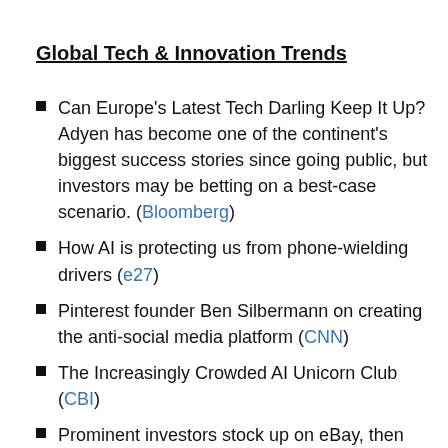Global Tech & Innovation Trends
Can Europe's Latest Tech Darling Keep It Up? Adyen has become one of the continent's biggest success stories since going public, but investors may be betting on a best-case scenario. (Bloomberg)
How AI is protecting us from phone-wielding drivers (e27)
Pinterest founder Ben Silbermann on creating the anti-social media platform (CNN)
The Increasingly Crowded AI Unicorn Club (CBI)
Prominent investors stock up on eBay, then activists flex muscle (Reuters)
Big Tech's banking foray on regulators' radar (Reuters)
The AI That Can Write a Fake News Story From a Handful of Words (Bloomberg)